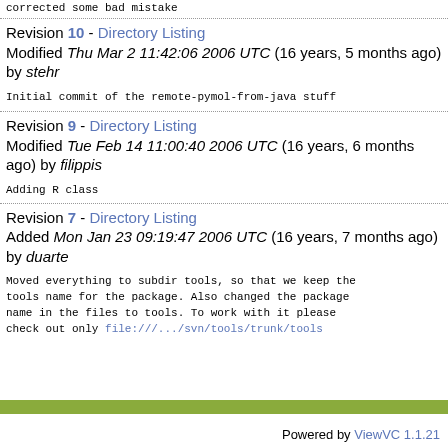corrected some bad mistake
Revision 10 - Directory Listing
Modified Thu Mar 2 11:42:06 2006 UTC (16 years, 5 months ago) by stehr
Initial commit of the remote-pymol-from-java stuff
Revision 9 - Directory Listing
Modified Tue Feb 14 11:00:40 2006 UTC (16 years, 6 months ago) by filippis
Adding R class
Revision 7 - Directory Listing
Added Mon Jan 23 09:19:47 2006 UTC (16 years, 7 months ago) by duarte
Moved everything to subdir tools, so that we keep the tools name for the package. Also changed the package name in the files to tools. To work with it please check out only file:///.../svn/tools/trunk/tools
Powered by ViewVC 1.1.21